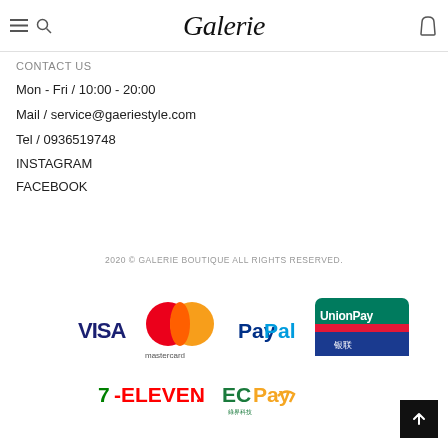Galerie
CONTACT US
Mon - Fri / 10:00 - 20:00
Mail / service@gaeriestyle.com
Tel / 0936519748
INSTAGRAM
FACEBOOK
2020 © GALERIE BOUTIQUE ALL RIGHTS RESERVED.
[Figure (logo): Payment method logos: VISA, Mastercard, PayPal, UnionPay, 7-ELEVEN, ECPay]